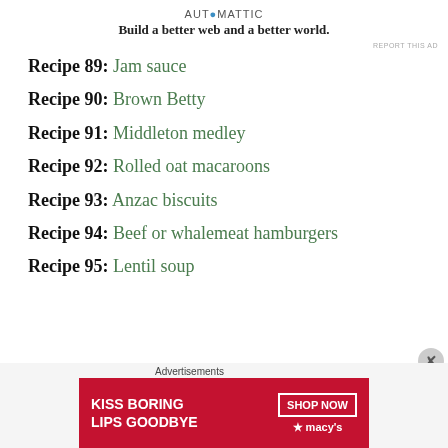[Figure (logo): Automattic logo with tagline: Build a better web and a better world.]
REPORT THIS AD
Recipe 89: Jam sauce
Recipe 90: Brown Betty
Recipe 91: Middleton medley
Recipe 92: Rolled oat macaroons
Recipe 93: Anzac biscuits
Recipe 94: Beef or whalemeat hamburgers
Recipe 95: Lentil soup
[Figure (photo): Advertisement banner: KISS BORING LIPS GOODBYE with SHOP NOW and Macys logo on red background with woman's lips photo.]